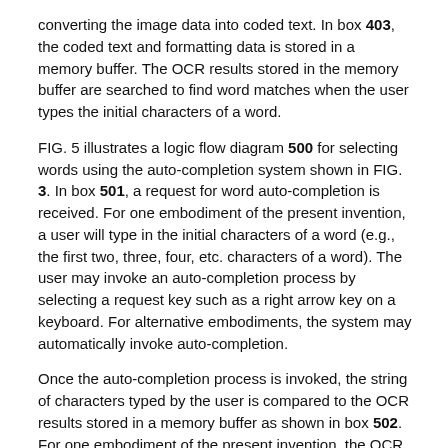converting the image data into coded text. In box 403, the coded text and formatting data is stored in a memory buffer. The OCR results stored in the memory buffer are searched to find word matches when the user types the initial characters of a word.
FIG. 5 illustrates a logic flow diagram 500 for selecting words using the auto-completion system shown in FIG. 3. In box 501, a request for word auto-completion is received. For one embodiment of the present invention, a user will type in the initial characters of a word (e.g., the first two, three, four, etc. characters of a word). The user may invoke an auto-completion process by selecting a request key such as a right arrow key on a keyboard. For alternative embodiments, the system may automatically invoke auto-completion.
Once the auto-completion process is invoked, the string of characters typed by the user is compared to the OCR results stored in a memory buffer as shown in box 502. For one embodiment of the present invention, the OCR results represent the OCR results for a single document, and for alternative embodiments, the OCR results represent the